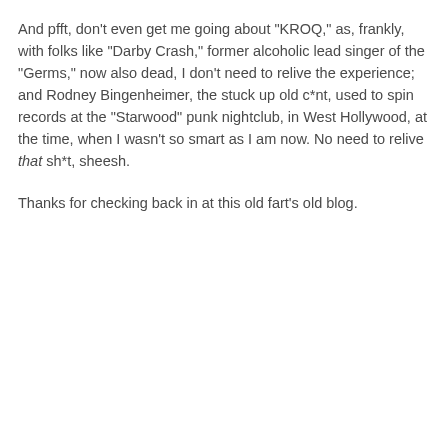And pfft, don't even get me going about "KROQ," as, frankly, with folks like "Darby Crash," former alcoholic lead singer of the "Germs," now also dead, I don't need to relive the experience; and Rodney Bingenheimer, the stuck up old c*nt, used to spin records at the "Starwood" punk nightclub, in West Hollywood, at the time, when I wasn't so smart as I am now. No need to relive that sh*t, sheesh.
Thanks for checking back in at this old fart's old blog.